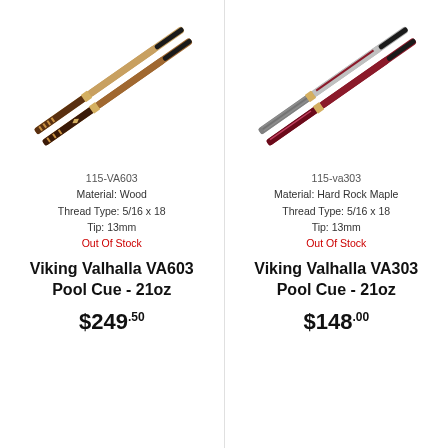[Figure (photo): Two Viking Valhalla VA603 pool cue sticks shown diagonally, with decorative wrapping and metallic joint]
115-VA603
Material: Wood
Thread Type: 5/16 x 18
Tip: 13mm
Out Of Stock
Viking Valhalla VA603 Pool Cue - 21oz
$249.50
[Figure (photo): Two Viking Valhalla VA303 pool cue sticks shown diagonally, with gray/maroon coloring and metallic joint]
115-va303
Material: Hard Rock Maple
Thread Type: 5/16 x 18
Tip: 13mm
Out Of Stock
Viking Valhalla VA303 Pool Cue - 21oz
$148.00